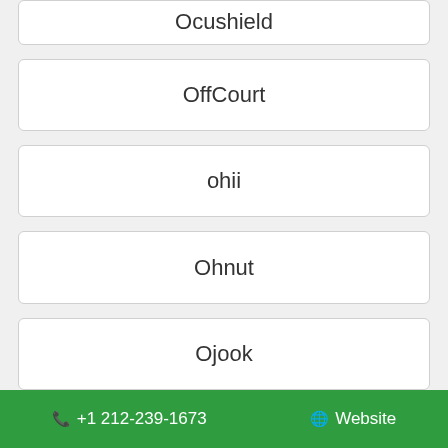Ocushield
OffCourt
ohii
Ohnut
Ojook
☎ +1 212-239-1673   🌐 Website